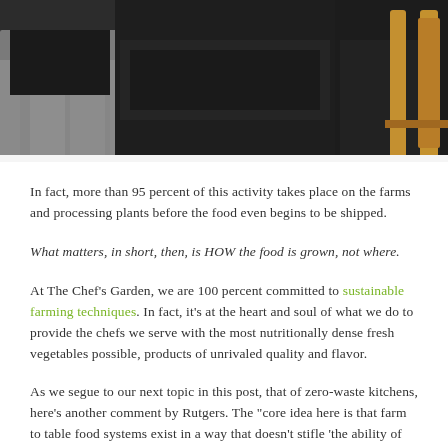[Figure (photo): A dark photograph showing people seated, one wearing grey pants and another in black clothing, with a wooden chair visible in the background.]
In fact, more than 95 percent of this activity takes place on the farms and processing plants before the food even begins to be shipped.
What matters, in short, then, is HOW the food is grown, not where.
At The Chef’s Garden, we are 100 percent committed to sustainable farming techniques. In fact, it’s at the heart and soul of what we do to provide the chefs we serve with the most nutritionally dense fresh vegetables possible, products of unrivaled quality and flavor.
As we segue to our next topic in this post, that of zero-waste kitchens, here’s another comment by Rutgers. The “core idea here is that farm to table food systems exist in a way that doesn’t stifle 'the ability of future generations to meet their own food needs'